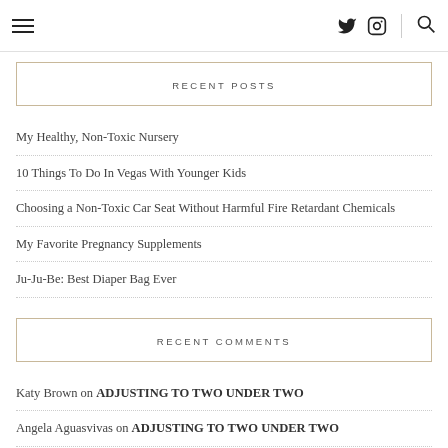Navigation header with hamburger menu, Twitter icon, Instagram icon, and search icon
RECENT POSTS
My Healthy, Non-Toxic Nursery
10 Things To Do In Vegas With Younger Kids
Choosing a Non-Toxic Car Seat Without Harmful Fire Retardant Chemicals
My Favorite Pregnancy Supplements
Ju-Ju-Be: Best Diaper Bag Ever
RECENT COMMENTS
Katy Brown on ADJUSTING TO TWO UNDER TWO
Angela Aguasvivas on ADJUSTING TO TWO UNDER TWO